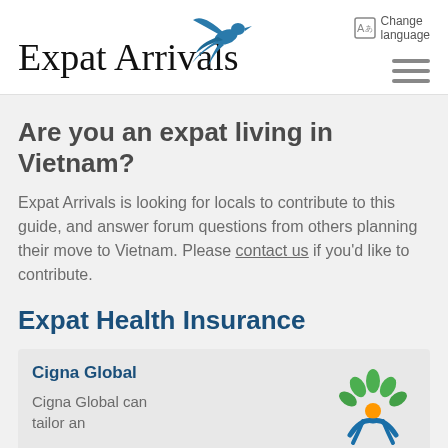[Figure (logo): Expat Arrivals logo with blue swallow bird and serif text]
Are you an expat living in Vietnam?
Expat Arrivals is looking for locals to contribute to this guide, and answer forum questions from others planning their move to Vietnam. Please contact us if you'd like to contribute.
Expat Health Insurance
[Figure (logo): Cigna Global logo - green tree/person figure with orange center]
Cigna Global
Cigna Global can tailor an